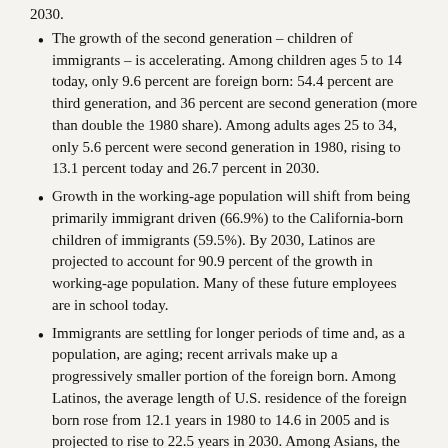2030.
The growth of the second generation – children of immigrants – is accelerating. Among children ages 5 to 14 today, only 9.6 percent are foreign born: 54.4 percent are third generation, and 36 percent are second generation (more than double the 1980 share). Among adults ages 25 to 34, only 5.6 percent were second generation in 1980, rising to 13.1 percent today and 26.7 percent in 2030.
Growth in the working-age population will shift from being primarily immigrant driven (66.9%) to the California-born children of immigrants (59.5%). By 2030, Latinos are projected to account for 90.9 percent of the growth in working-age population. Many of these future employees are in school today.
Immigrants are settling for longer periods of time and, as a population, are aging; recent arrivals make up a progressively smaller portion of the foreign born. Among Latinos, the average length of U.S. residence of the foreign born rose from 12.1 years in 1980 to 14.6 in 2005 and is projected to rise to 22.5 years in 2030. Among Asians, the comparable figures are 10.0, 22.4 and 25.5 years.
By 2030, a much larger portion of young adult Latinos will be long settled or second generation, which should lead to gains in graduation rates, health insurance access, voting and English dominance.